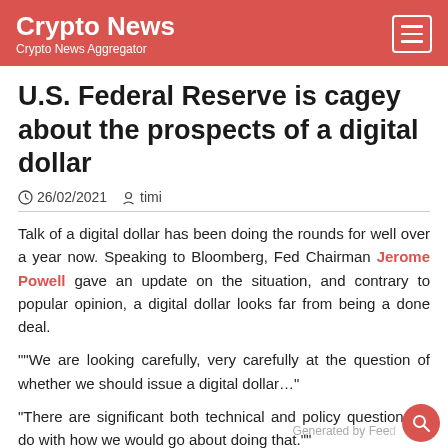Crypto News | Crypto News Aggregator
U.S. Federal Reserve is cagey about the prospects of a digital dollar
26/02/2021  timi
Talk of a digital dollar has been doing the rounds for well over a year now. Speaking to Bloomberg, Fed Chairman Jerome Powell gave an update on the situation, and contrary to popular opinion, a digital dollar looks far from being a done deal.
""We are looking carefully, very carefully at the question of whether we should issue a digital dollar..."
"There are significant both technical and policy questions to do with how we would go about doing that.""
a digital dollar here on the prospects of a